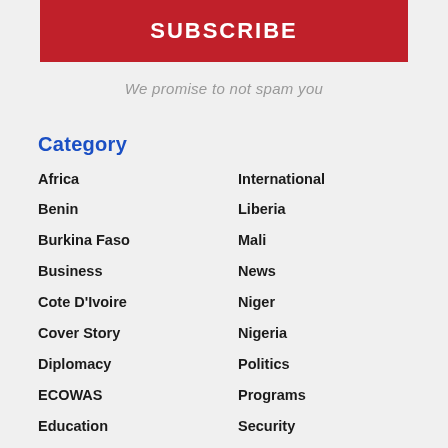SUBSCRIBE
We promise to not spam you
Category
Africa
Benin
Burkina Faso
Business
Cote D'Ivoire
Cover Story
Diplomacy
ECOWAS
Education
Embassy News And Info
International
Liberia
Mali
News
Niger
Nigeria
Politics
Programs
Security
Senegal